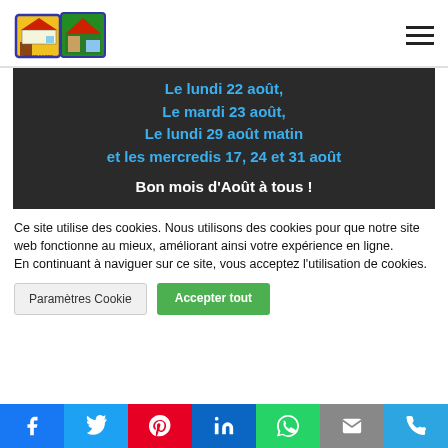[Figure (logo): Municipal logo with two coat-of-arms badges]
[Figure (infographic): Dark banner with blue text listing dates: Le lundi 22 août, Le mardi 23 août, Le lundi 29 août matin et les mercredis 17, 24 et 31 août, and white text: Bon mois d'Août à tous !]
Ce site utilise des cookies. Nous utilisons des cookies pour que notre site web fonctionne au mieux, améliorant ainsi votre expérience en ligne.
En continuant à naviguer sur ce site, vous acceptez l'utilisation de cookies.
Paramètres Cookie
Accepter tout
[Figure (infographic): Social media sharing bar with icons: Facebook, Twitter, Pinterest, LinkedIn, WhatsApp, Email, Phone]